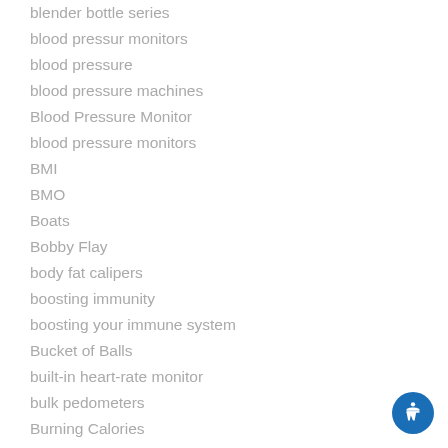blender bottle series
blood pressur monitors
blood pressure
blood pressure machines
Blood Pressure Monitor
blood pressure monitors
BMI
BMO
Boats
Bobby Flay
body fat calipers
boosting immunity
boosting your immune system
Bucket of Balls
built-in heart-rate monitor
bulk pedometers
Burning Calories
Caddy
calf